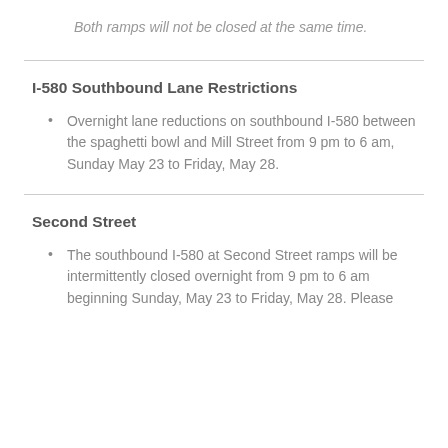Both ramps will not be closed at the same time.
I-580 Southbound Lane Restrictions
Overnight lane reductions on southbound I-580 between the spaghetti bowl and Mill Street from 9 pm to 6 am, Sunday May 23 to Friday, May 28.
Second Street
The southbound I-580 at Second Street ramps will be intermittently closed overnight from 9 pm to 6 am beginning Sunday, May 23 to Friday, May 28. Please